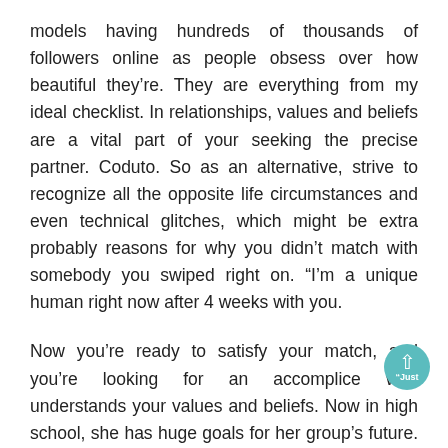models having hundreds of thousands of followers online as people obsess over how beautiful they’re. They are everything from my ideal checklist. In relationships, values and beliefs are a vital part of your seeking the precise partner. Coduto. So as an alternative, strive to recognize all the opposite life circumstances and even technical glitches, which might be extra probably reasons for why you didn’t match with somebody you swiped right on. “I’m a unique human right now after 4 weeks with you.
Now you’re ready to satisfy your match, and you’re looking for an accomplice who understands your values and beliefs. Now in high school, she has huge goals for her group’s future. I’m telling myself a new story for the first time in 48 years; I truly love who I’m. We assure you that you will see somebody who’s waiting for you. Just completed Dating a hundred and one and Beloved it. And